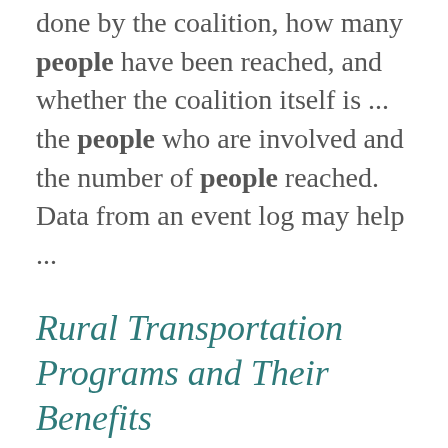done by the coalition, how many people have been reached, and whether the coalition itself is ... the people who are involved and the number of people reached. Data from an event log may help ...
Rural Transportation Programs and Their Benefits
https://ohioline.osu.edu/factsheet/cdfs-1575 goals of Ohio's Rural Transit Program are to: enhance the access of people in rural areas to shopping, ... isolation for groups such as older adults and people with disabilities. Access to transportation may